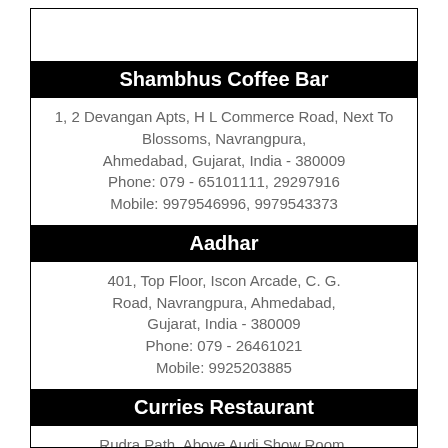Shambhus Coffee Bar
1, 2 Devangan Apts, H L Commerce Road, Next To Blossoms, Navrangpura, Ahmedabad, Gujarat, India - 380009
Phone: 079 - 65101111, 29297916
Mobile: 9979546996, 9979543373
Aadhar
401, Top Floor, Iscon Arcade, C. G. Road, Navrangpura, Ahmedabad, Gujarat, India - 380009
Phone: 079 - 26461021
Mobile: 9925203885
Curries Restaurant
Rudra Path, Above Audi Show Room, Near Rajpath Club, SG Highway, Ahmedabad, Gujarat, India - 380052
Phone: 079 - 32994242
Mobile: 99107 99444